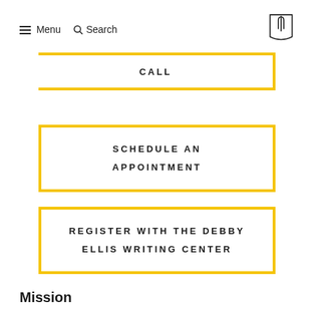≡ Menu  🔍 Search
CALL
SCHEDULE AN APPOINTMENT
REGISTER WITH THE DEBBY ELLIS WRITING CENTER
Mission